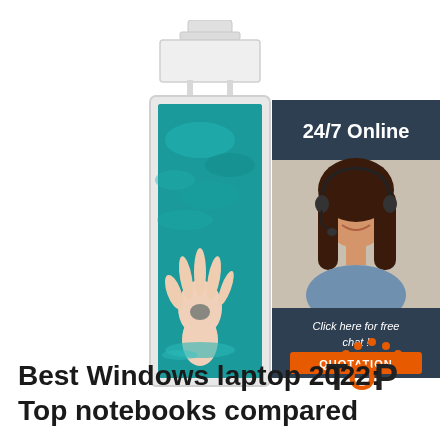[Figure (photo): A vertical digital signage display/totem with a white frame and mount bracket on top. The screen shows a hand reaching up through turquoise water holding a stone, with rippling water surface visible. A white rectangular header panel sits above the screen on a bracket.]
[Figure (infographic): A dark navy blue advertisement banner for a 24/7 online service. Shows a smiling woman with dark hair wearing a headset/telephone. Text says '24/7 Online' at top, 'Click here for free chat!' and an orange button labeled 'QUOTATION' at bottom.]
[Figure (logo): TOP logo with orange dotted arc above the word TOP in dark text with orange O.]
Best Windows laptop 2022: Top notebooks compared